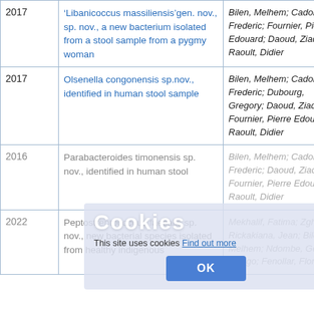| Year | Title | Authors |
| --- | --- | --- |
| 2017 | 'Libanicoccus massiliensis'gen. nov., sp. nov., a new bacterium isolated from a stool sample from a pygmy woman | Bilen, Melhem; Cadoret, Frederic; Fournier, Pierre Edouard; Daoud, Ziad; Raoult, Didier |
| 2017 | Olsenella congonensis sp.nov., identified in human stool sample | Bilen, Melhem; Cadoret, Frederic; Dubourg, Gregory; Daoud, Ziad; Fournier, Pierre Edouard; Raoult, Didier |
| 2016 | Parabacteroides timonensis sp. nov., identified in human stool | Bilen, Melhem; Cadoret, Frederic; Daoud, Ziad; Fournier, Pierre Edouard; Raoult, Didier |
| 2022 | Peptostreptococcus faecalis sp. nov., new bacterial species isolated from healthy indigenous | Mekhalif, Fatima; Zgheib, Rickakiana, Jean; Bilen, Melhem; Ndombe, Geor Mongo; Fenollar, Florence; |